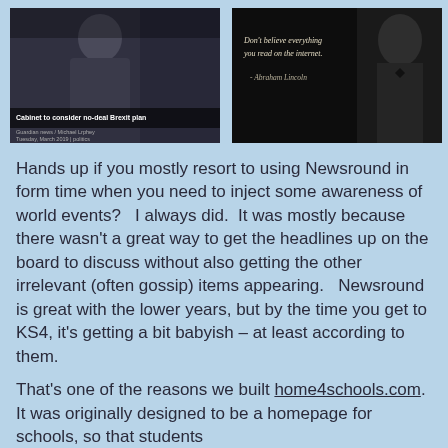[Figure (photo): Photo of Theresa May / Brexit news article with caption 'Cabinet to consider no-deal Brexit plan']
[Figure (photo): Black and white photo of Abraham Lincoln with quote: 'Don't believe everything you read on the internet. - Abraham Lincoln']
Hands up if you mostly resort to using Newsround in form time when you need to inject some awareness of world events?   I always did.  It was mostly because there wasn't a great way to get the headlines up on the board to discuss without also getting the other irrelevant (often gossip) items appearing.   Newsround is great with the lower years, but by the time you get to KS4, it's getting a bit babyish – at least according to them.
That's one of the reasons we built home4schools.com.  It was originally designed to be a homepage for schools, so that students